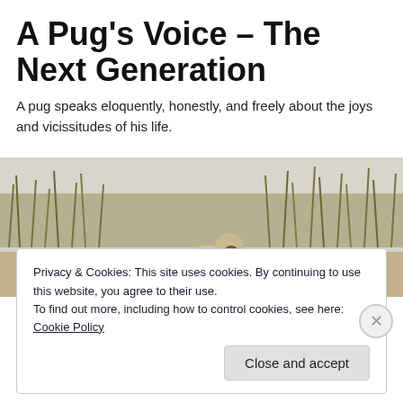A Pug's Voice – The Next Generation
A pug speaks eloquently, honestly, and freely about the joys and vicissitudes of his life.
[Figure (photo): A pug dog walking on sandy beach dunes with tall grass in the background, viewed from behind.]
Privacy & Cookies: This site uses cookies. By continuing to use this website, you agree to their use.
To find out more, including how to control cookies, see here: Cookie Policy